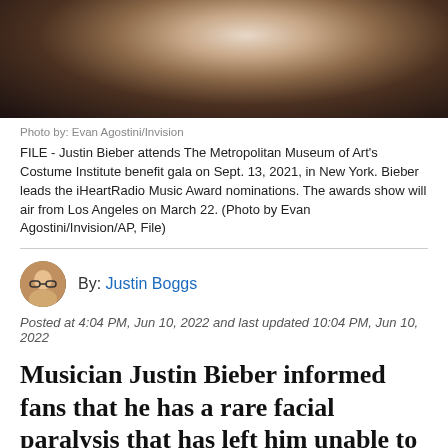[Figure (photo): Photo of Justin Bieber at Met Gala, cropped showing upper body in dark suit]
Photo by: Evan Agostini/Invision
FILE - Justin Bieber attends The Metropolitan Museum of Art's Costume Institute benefit gala on Sept. 13, 2021, in New York. Bieber leads the iHeartRadio Music Award nominations. The awards show will air from Los Angeles on March 22. (Photo by Evan Agostini/Invision/AP, File)
By: Justin Boggs
Posted at 4:04 PM, Jun 10, 2022 and last updated 10:04 PM, Jun 10, 2022
Musician Justin Bieber informed fans that he has a rare facial paralysis that has left him unable to move some of his face.